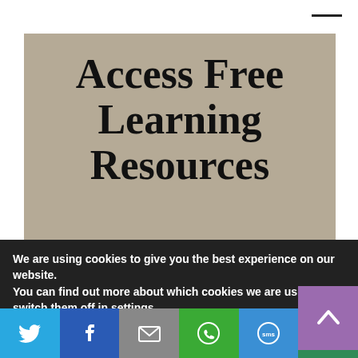[Figure (infographic): Promotional card with tan/beige background showing 'Access Free Learning Resources' title and subtitle about signing up for free learning printables]
Access Free Learning Resources
Signing up will give you access to all of my free learning printables
We are using cookies to give you the best experience on our website.
You can find out more about which cookies we are using or switch them off in settings.
[Figure (infographic): Social share bar with Twitter, Facebook, Email, WhatsApp, SMS, and More buttons]